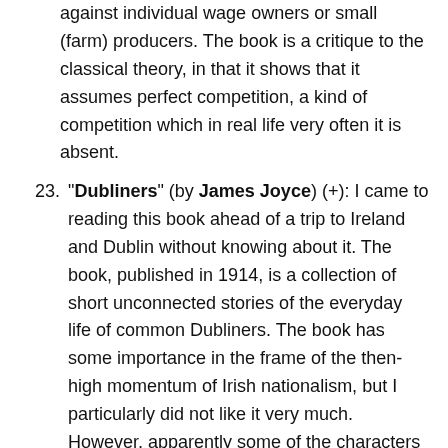against individual wage owners or small (farm) producers. The book is a critique to the classical theory, in that it shows that it assumes perfect competition, a kind of competition which in real life very often it is absent.
23. "Dubliners" (by James Joyce) (+): I came to reading this book ahead of a trip to Ireland and Dublin without knowing about it. The book, published in 1914, is a collection of short unconnected stories of the everyday life of common Dubliners. The book has some importance in the frame of the then-high momentum of Irish nationalism, but I particularly did not like it very much. However, apparently some of the characters and stories appear again and are continued in Ulysses, thus the groundwork of having read it may pay off at a later time.